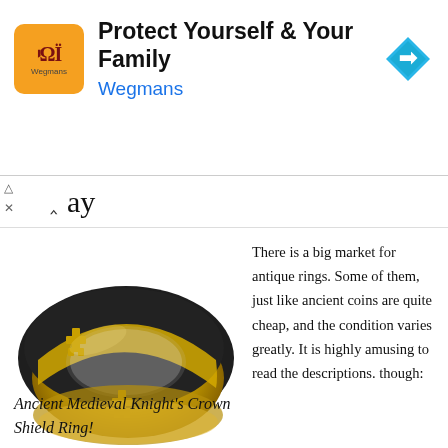[Figure (infographic): Advertisement banner: orange logo with Wegmans branding, text 'Protect Yourself & Your Family', 'Wegmans', and a blue diamond arrow icon]
ay
[Figure (photo): A black and gold ring with cross cutouts, styled as a medieval knight crown shield ring]
There is a big market for antique rings. Some of them, just like ancient coins are quite cheap, and the condition varies greatly. It is highly amusing to read the descriptions. though:
Ancient Medieval Knight's Crown Shield Ring!